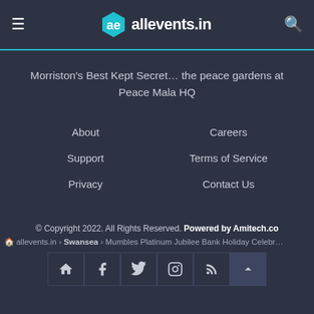allevents.in
Morriston's Best Kept Secret… the peace gardens at Peace Mala HQ
About
Careers
Support
Terms of Service
Privacy
Contact Us
© Copyright 2022. All Rights Reserved. Powered by Amitech.co
allevents.in › Swansea › Mumbles Platinum Jubilee Bank Holiday Celebr…